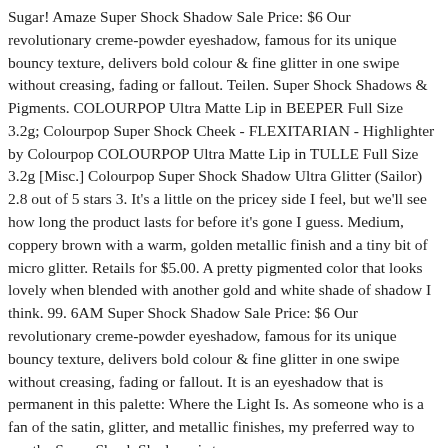Sugar! Amaze Super Shock Shadow Sale Price: $6 Our revolutionary creme-powder eyeshadow, famous for its unique bouncy texture, delivers bold colour & fine glitter in one swipe without creasing, fading or fallout. Teilen. Super Shock Shadows & Pigments. COLOURPOP Ultra Matte Lip in BEEPER Full Size 3.2g; Colourpop Super Shock Cheek - FLEXITARIAN - Highlighter by Colourpop COLOURPOP Ultra Matte Lip in TULLE Full Size 3.2g [Misc.] Colourpop Super Shock Shadow Ultra Glitter (Sailor) 2.8 out of 5 stars 3. It's a little on the pricey side I feel, but we'll see how long the product lasts for before it's gone I guess. Medium, coppery brown with a warm, golden metallic finish and a tiny bit of micro glitter. Retails for $5.00. A pretty pigmented color that looks lovely when blended with another gold and white shade of shadow I think. 99. 6AM Super Shock Shadow Sale Price: $6 Our revolutionary creme-powder eyeshadow, famous for its unique bouncy texture, delivers bold colour & fine glitter in one swipe without creasing, fading or fallout. It is an eyeshadow that is permanent in this palette: Where the Light Is. As someone who is a fan of the satin, glitter, and metallic finishes, my preferred way to use the Super Shock Shadows is to use